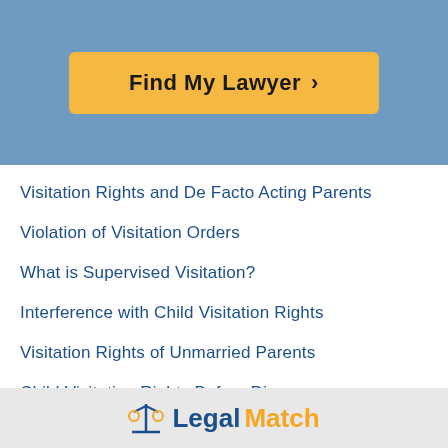[Figure (other): Blue header banner with gold 'Find My Lawyer >' button]
Visitation Rights and De Facto Acting Parents
Violation of Visitation Orders
What is Supervised Visitation?
Interference with Child Visitation Rights
Visitation Rights of Unmarried Parents
Child Visitation Rights Before Divorce
Divorce: Mother's Visitation Rights
Top Ten Child Visitation Questions
Reasonable Visitation Lawyers
[Figure (logo): LegalMatch logo with scales of justice icon, 'Legal' in blue and 'Match' in gold/orange]